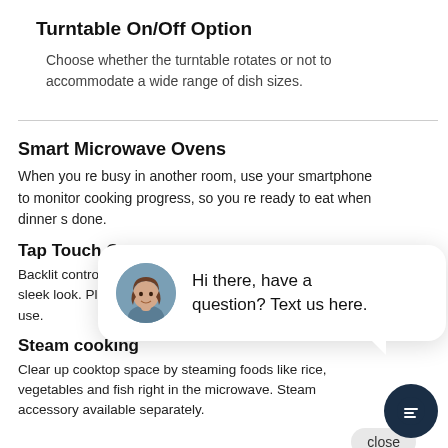Turntable On/Off Option
Choose whether the turntable rotates or not to accommodate a wide range of dish sizes.
Smart Microwave Ovens
When you re busy in another room, use your smartphone to monitor cooking progress, so you re ready to eat when dinner s done.
Tap Touch C[ontrol]
Backlit contro[ls give a] sleek look. Pl[us easy to] use.
Steam cooking
Clear up cooktop space by steaming foods like rice, vegetables and fish right in the microwave. Steam accessory available separately.
[Figure (other): Chat widget overlay showing a female avatar and text 'Hi there, have a question? Text us here.' with a close button and a dark navy chat icon button.]